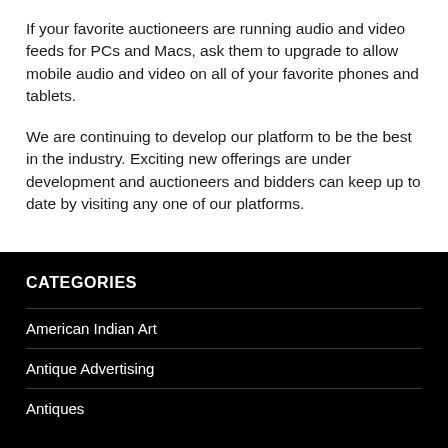If your favorite auctioneers are running audio and video feeds for PCs and Macs, ask them to upgrade to allow mobile audio and video on all of your favorite phones and tablets.
We are continuing to develop our platform to be the best in the industry. Exciting new offerings are under development and auctioneers and bidders can keep up to date by visiting any one of our platforms.
CATEGORIES
American Indian Art
Antique Advertising
Antiques